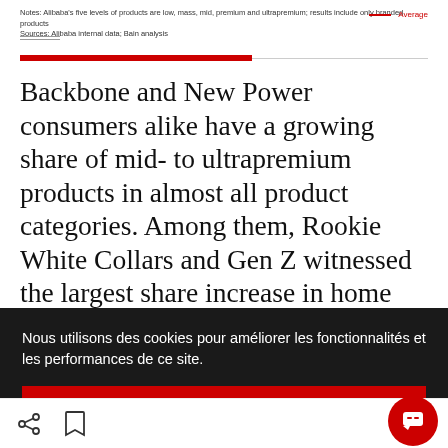Notes: Alibaba's five levels of products are low, mass, mid, premium and ultrapremium; results include only branded products
Sources: Alibaba internal data; Bain analysis
Backbone and New Power consumers alike have a growing share of mid- to ultrapremium products in almost all product categories. Among them, Rookie White Collars and Gen Z witnessed the largest share increase in home care and personal care. By contrast, Urban Gray
Nous utilisons des cookies pour améliorer les fonctionnalités et les performances de ce site.
AUTORISER TOUS LES COOKIES